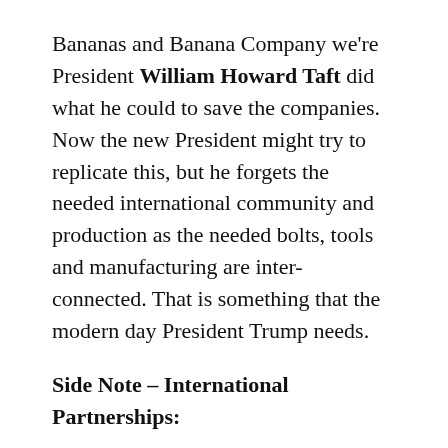Bananas and Banana Company we're President William Howard Taft did what he could to save the companies. Now the new President might try to replicate this, but he forgets the needed international community and production as the needed bolts, tools and manufacturing are inter-connected. That is something that the modern day President Trump needs.
Side Note – International Partnerships:
So if he builds walls, gets into whiny bitch mode and becomes a fully-blown attack paranoid mode, than the international partners will not accept being constantly